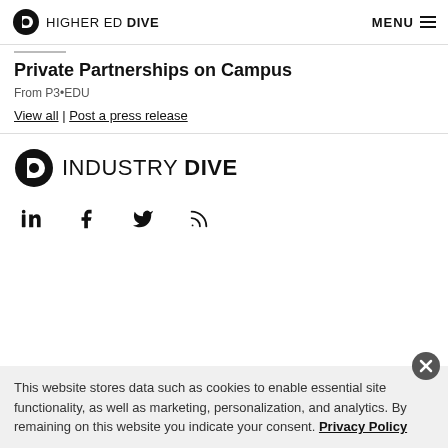HIGHER ED DIVE | MENU
Private Partnerships on Campus
From P3•EDU
View all | Post a press release
[Figure (logo): Industry Dive logo with circular D icon]
[Figure (infographic): Social media icons: LinkedIn, Facebook, Twitter, RSS]
This website stores data such as cookies to enable essential site functionality, as well as marketing, personalization, and analytics. By remaining on this website you indicate your consent. Privacy Policy